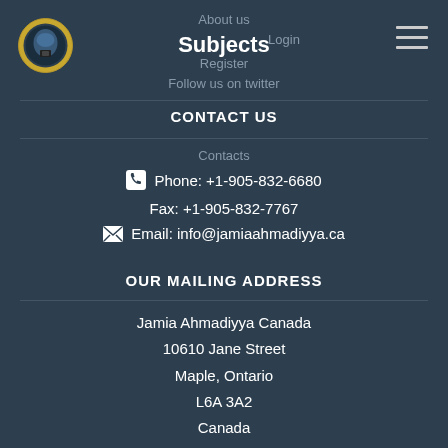[Figure (logo): Circular institutional badge/logo in gold and blue colors]
About us
Subjects
Login
Register
Follow us on twitter
CONTACT US
Contacts
Phone: +1-905-832-6680
Fax: +1-905-832-7767
Email: info@jamiaahmadiyya.ca
OUR MAILING ADDRESS
Jamia Ahmadiyya Canada
10610 Jane Street
Maple, Ontario
L6A 3A2
Canada